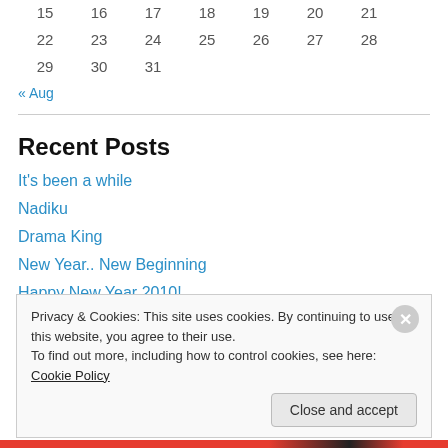| 15 | 16 | 17 | 18 | 19 | 20 | 21 |
| 22 | 23 | 24 | 25 | 26 | 27 | 28 |
| 29 | 30 | 31 |  |  |  |  |
« Aug
Recent Posts
It's been a while
Nadiku
Drama King
New Year.. New Beginning
Happy New Year 2010!
Privacy & Cookies: This site uses cookies. By continuing to use this website, you agree to their use.
To find out more, including how to control cookies, see here: Cookie Policy